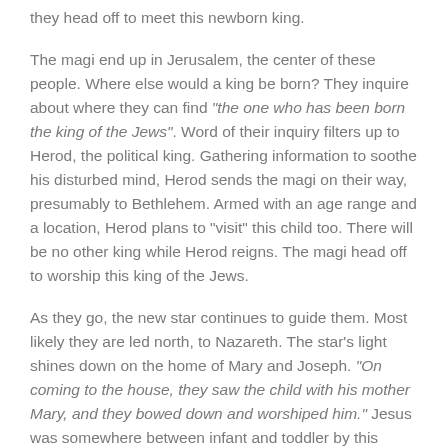they head off to meet this newborn king.
The magi end up in Jerusalem, the center of these people. Where else would a king be born? They inquire about where they can find "the one who has been born the king of the Jews". Word of their inquiry filters up to Herod, the political king. Gathering information to soothe his disturbed mind, Herod sends the magi on their way, presumably to Bethlehem. Armed with an age range and a location, Herod plans to "visit" this child too. There will be no other king while Herod reigns. The magi head off to worship this king of the Jews.
As they go, the new star continues to guide them. Most likely they are led north, to Nazareth. The star's light shines down on the home of Mary and Joseph. "On coming to the house, they saw the child with his mother Mary, and they bowed down and worshiped him." Jesus was somewhere between infant and toddler by this point. The magi present